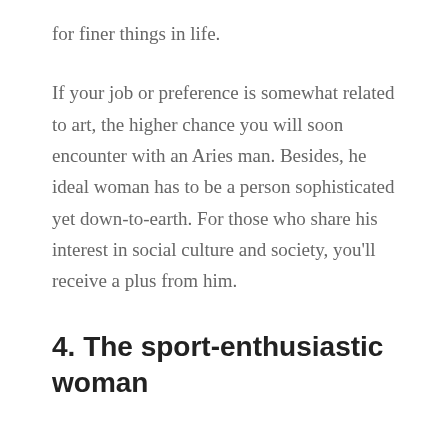for finer things in life.
If your job or preference is somewhat related to art, the higher chance you will soon encounter with an Aries man. Besides, he ideal woman has to be a person sophisticated yet down-to-earth. For those who share his interest in social culture and society, you'll receive a plus from him.
4. The sport-enthusiastic woman